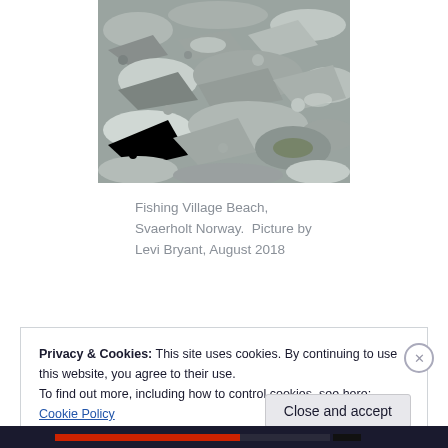[Figure (photo): Rocky beach with various sizes of grey stones and rocks, some with green moss, photographed at Fishing Village Beach in Svaerholt, Norway]
Fishing Village Beach, Svaerholt Norway.  Picture by Levi Bryant, August 2018
Privacy & Cookies: This site uses cookies. By continuing to use this website, you agree to their use.
To find out more, including how to control cookies, see here: Cookie Policy